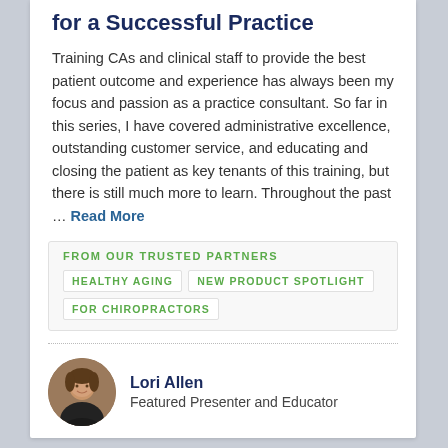for a Successful Practice
Training CAs and clinical staff to provide the best patient outcome and experience has always been my focus and passion as a practice consultant. So far in this series, I have covered administrative excellence, outstanding customer service, and educating and closing the patient as key tenants of this training, but there is still much more to learn. Throughout the past ... Read More
FROM OUR TRUSTED PARTNERS
HEALTHY AGING
NEW PRODUCT SPOTLIGHT
FOR CHIROPRACTORS
Lori Allen
Featured Presenter and Educator